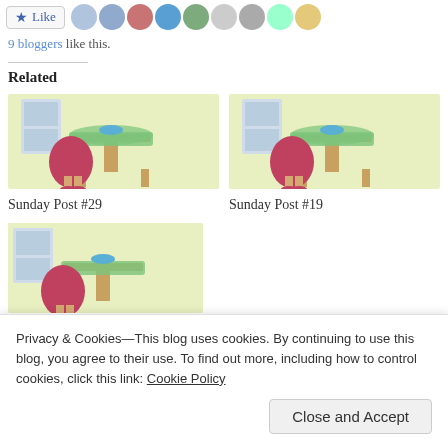[Figure (other): Like button with star icon and a strip of 9 blogger avatar thumbnails]
9 bloggers like this.
Related
[Figure (illustration): Thumbnail illustration of a cafe scene with a person at a bistro table, green tablecloth, red chair, blue bowl — for Sunday Post #29]
Sunday Post #29
[Figure (illustration): Thumbnail illustration of a cafe scene, identical style — for Sunday Post #19]
Sunday Post #19
[Figure (illustration): Third thumbnail illustration of cafe scene (partially visible), related post below cookie banner]
Privacy & Cookies—This blog uses cookies. By continuing to use this blog, you agree to their use. To find out more, including how to control cookies, click this link: Cookie Policy
Close and Accept